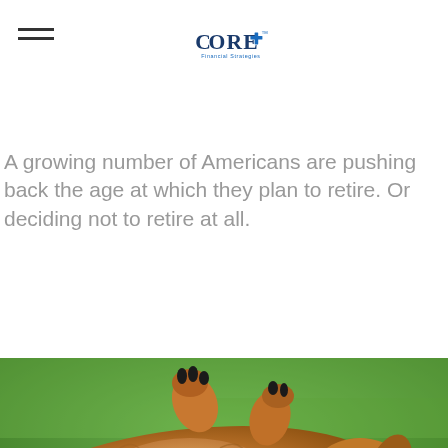Core+ Financial Strategies logo with hamburger menu
A growing number of Americans are pushing back the age at which they plan to retire. Or deciding not to retire at all.
[Figure (photo): A golden/brown dog rolling on its back in green grass, mouth open and appearing happy]